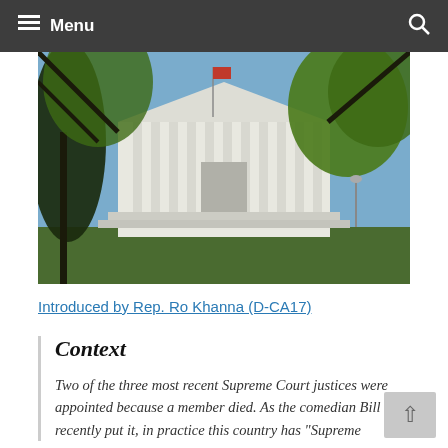Menu
[Figure (photo): Photograph of the United States Supreme Court building, viewed through trees with green foliage, showing the classical white marble facade with columns and steps.]
Introduced by Rep. Ro Khanna (D-CA17)
Context
Two of the three most recent Supreme Court justices were appointed because a member died. As the comedian Bill Maher recently put it, in practice this country has "Supreme